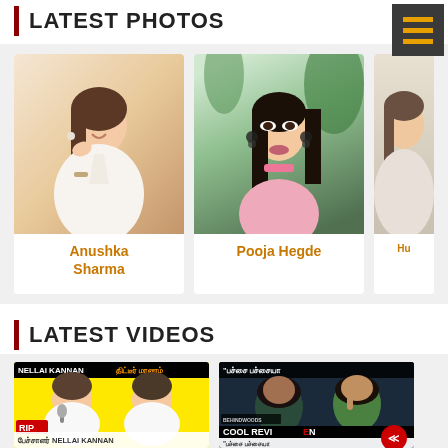LATEST PHOTOS
[Figure (photo): Photo card of Anushka Sharma smiling, wearing white outfit]
[Figure (photo): Photo card of Pooja Hegde in pink outfit posing]
[Figure (photo): Partial photo card of a third celebrity (Hu...)]
LATEST VIDEOS
[Figure (photo): Video thumbnail: Nellai Kannan death news with RIP badge, two men photographed, Tamil text கேட்டீர் மரணம்]
பேச்சாளர் NELLAI KANNAN
[Figure (photo): Video thumbnail: COOL REVIEW with Behindwoods logo, Tamil text பச்சை பச்சையா, two men]
"பச்சை பச்சையா